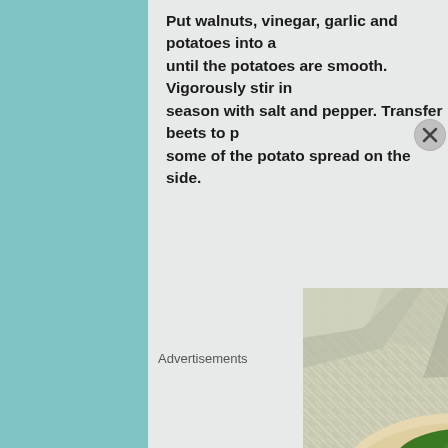Put walnuts, vinegar, garlic and potatoes into a until the potatoes are smooth. Vigorously stir in season with salt and pepper. Transfer beets to p some of the potato spread on the side.
[Figure (photo): A fish fillet topped with chopped green herbs (dill/parsley) served on a bed of roasted beet chunks and green beans, wrapped in aluminum foil]
Advertisements